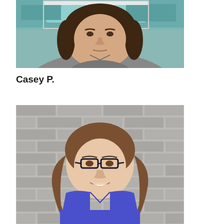[Figure (photo): Portrait photo of a woman with dark brown bob-length hair, wearing grey scrubs, standing in front of a teal/blue painted background.]
Casey P.
[Figure (photo): Portrait photo of a smiling young woman with long brown hair wearing glasses and blue scrubs, standing in front of a grey brick wall.]